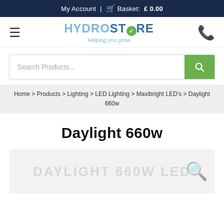My Account | Basket: £ 0.00
[Figure (logo): HYDROSTORE logo with tagline 'Helping you grow']
Search Products...
Home > Products > Lighting > LED Lighting > Maxibright LED's > Daylight 660w
Daylight 660w
[Figure (photo): DAYLIGHT 660W LED product image placeholder with magnifier icon]